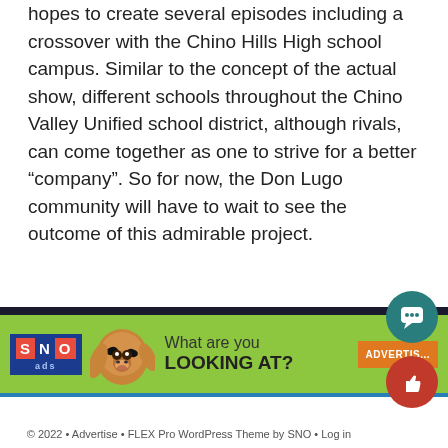hopes to create several episodes including a crossover with the Chino Hills High school campus. Similar to the concept of the actual show, different schools throughout the Chino Valley Unified school district, although rivals, can come together as one to strive for a better “company”. So for now, the Don Lugo community will have to wait to see the outcome of this admirable project.
Leave a Comment
[Figure (other): SNO ads banner advertisement with chihuahua dog image and text 'What are you LOOKING AT?' with an orange Advertise button]
© 2022 • Advertise • FLEX Pro WordPress Theme by SNO • Log in